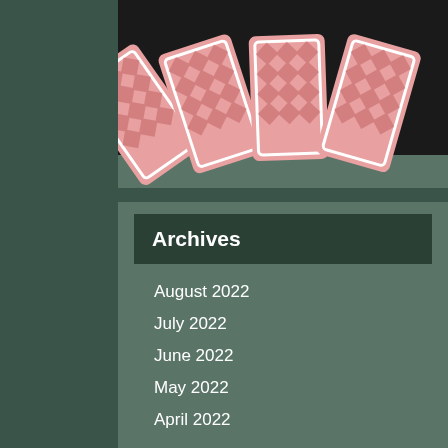[Figure (illustration): Four playing cards fanned out face-down showing red diamond pattern backs, on a dark/black background]
Archives
August 2022
July 2022
June 2022
May 2022
April 2022